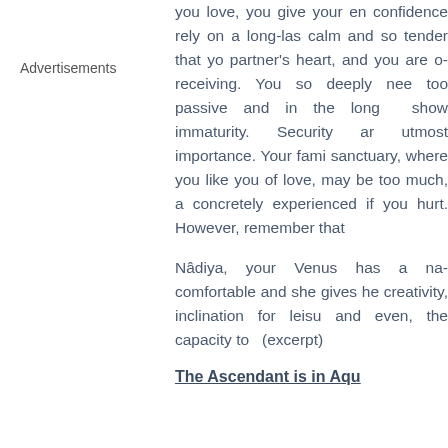Advertisements
you love, you give your en... confidence rely on a long-las... calm and so tender that yo... partner's heart, and you are o... receiving. You so deeply nee... too passive and in the long ... show immaturity. Security ar... utmost importance. Your fami... sanctuary, where you like you... of love, may be too much, a... concretely experienced if you... hurt. However, remember that...
Nâdiya, your Venus has a na... comfortable and she gives he... creativity, inclination for leisu... and even, the capacity to ... (excerpt)
The Ascendant is in Aqu...